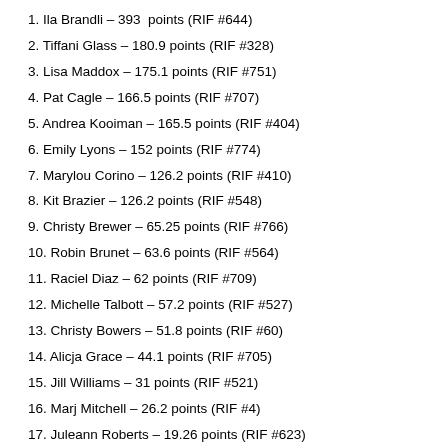1. Ila Brandli – 393  points (RIF #644)
2. Tiffani Glass – 180.9 points (RIF #328)
3. Lisa Maddox – 175.1 points (RIF #751)
4. Pat Cagle – 166.5 points (RIF #707)
5. Andrea Kooiman – 165.5 points (RIF #404)
6. Emily Lyons – 152 points (RIF #774)
7. Marylou Corino – 126.2 points (RIF #410)
8. Kit Brazier – 126.2 points (RIF #548)
9. Christy Brewer – 65.25 points (RIF #766)
10. Robin Brunet – 63.6 points (RIF #564)
11. Raciel Diaz – 62 points (RIF #709)
12. Michelle Talbott – 57.2 points (RIF #527)
13. Christy Bowers – 51.8 points (RIF #60)
14. Alicja Grace – 44.1 points (RIF #705)
15. Jill Williams – 31 points (RIF #521)
16. Marj Mitchell – 26.2 points (RIF #4)
17. Juleann Roberts – 19.26 points (RIF #623)